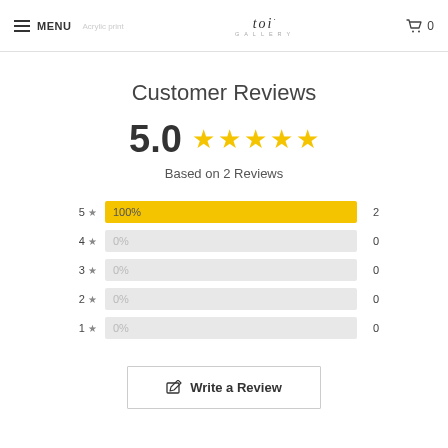MENU | toi GALLERY | Cart 0
Customer Reviews
5.0 ★★★★★
Based on 2 Reviews
[Figure (bar-chart): Rating breakdown]
Write a Review